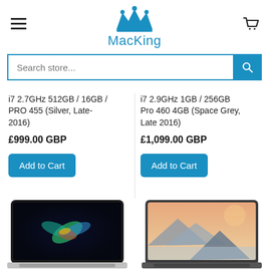MacKing
Search store...
i7 2.7GHz 512GB / 16GB / PRO 455 (Silver, Late-2016)
£999.00 GBP
i7 2.9GHz 1GB / 256GB Pro 460 4GB (Space Grey, Late 2016)
£1,099.00 GBP
[Figure (screenshot): MacBook Pro laptop product image - silver with colorful wallpaper]
[Figure (screenshot): MacBook laptop product image - space grey with mountain wallpaper]